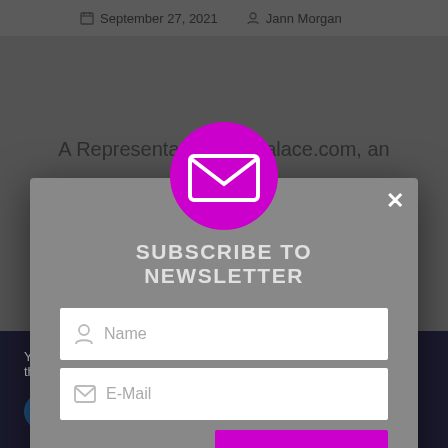September 27, 2021   Jann Morgan
A Representatives…nPalace.com, an
[Figure (screenshot): Newsletter subscription modal dialog with magenta email icon, fields for Name and E-Mail, a Sign-up! button, and privacy note]
You can find out more about which cookies we are using or switch them off in settings.
Accept